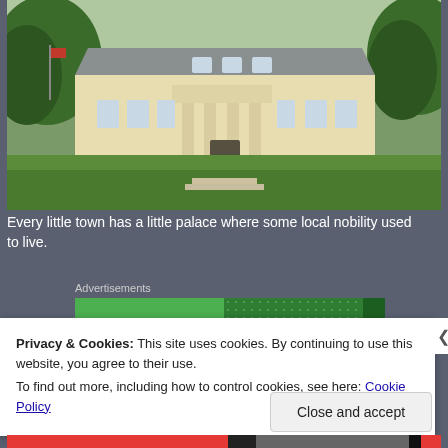[Figure (photo): A neoclassical palace building with white columns and a light yellow facade, set against a green lawn and trees. A flag is visible on the left side.]
Every little town has a little palace where some local nobility used to live.
Advertisements
Privacy & Cookies: This site uses cookies. By continuing to use this website, you agree to their use.
To find out more, including how to control cookies, see here: Cookie Policy
Close and accept